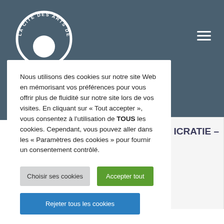[Figure (logo): La Cité des Arts de la Rue circular logo in white on dark teal background, with circular text and a white circle/sphere at bottom]
Nous utilisons des cookies sur notre site Web en mémorisant vos préférences pour vous offrir plus de fluidité sur notre site lors de vos visites. En cliquant sur « Tout accepter », vous consentez à l'utilisation de TOUS les cookies. Cependant, vous pouvez aller dans les « Paramètres des cookies » pour fournir un consentement contrôlé.
Choisir ses cookies
Accepter tout
Rejeter tous les cookies